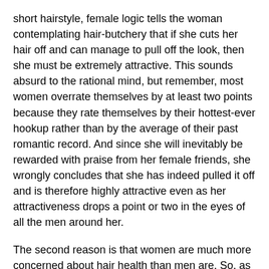short hairstyle, female logic tells the woman contemplating hair-butchery that if she cuts her hair off and can manage to pull off the look, then she must be extremely attractive. This sounds absurd to the rational mind, but remember, most women overrate themselves by at least two points because they rate themselves by their hottest-ever hookup rather than by the average of their past romantic record. And since she will inevitably be rewarded with praise from her female friends, she wrongly concludes that she has indeed pulled it off and is therefore highly attractive even as her attractiveness drops a point or two in the eyes of all the men around her.
The second reason is that women are much more concerned about hair health than men are. So, as they age and their hair turns grey and loses texture and body, they believe they will look better if they just cut it off. Which is ridiculous, at least as far as men are concerned, as evidenced by Athol's preference for his wife's "badly-damaged-with-an-accidental-bleaching-incident" hair to her healthy, natural, brunette hair. One need only to have lived in the 80s to realize that men could not possibly care less about the appeal of "healthy